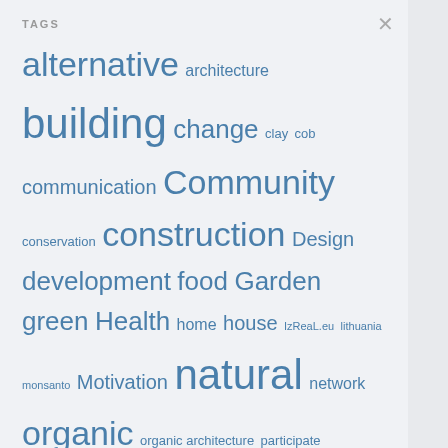TAGS
alternative architecture building change clay cob communication Community conservation construction Design development food Garden green Health home house IzReaL.eu lithuania monsanto Motivation natural network organic organic architecture participate personal planning preservation recycle recycling science social straw sustainable technology tips understanding update value video water wood Work
FRIENDLY LINKS
Being somewhere
Ben Law Woodsman
Clayworks Estonia
Earthenbuilt
Eco aan de Zaan
Farm Hack open source
Gamtos dalis